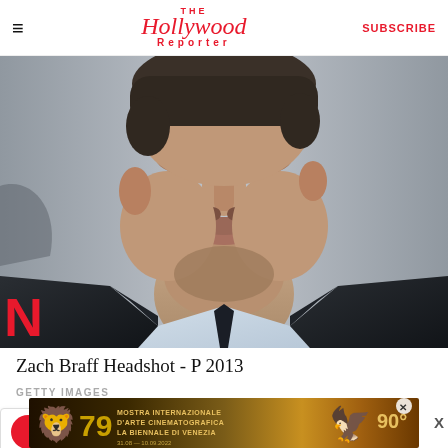The Hollywood Reporter — SUBSCRIBE
[Figure (photo): Zach Braff headshot photo, man in dark suit jacket with light blue dress shirt and dark tie, photographed from chest up, with partial red letter N visible at lower left]
Zach Braff Headshot - P 2013
GETTY IMAGES
Listen to this article
[Figure (photo): Advertisement for Mostra Internazionale D'Arte Cinematografica — La Biennale di Venezia, showing 79th edition logo with lion and phoenix/bird, dates 31.08 — 10.09.2022, 90° anniversary marking]